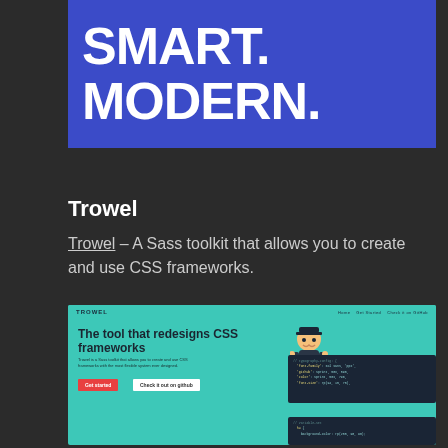[Figure (screenshot): Hero banner with blue background showing text SMART. MODERN. in large white bold uppercase letters]
Trowel
Trowel – A Sass toolkit that allows you to create and use CSS frameworks.
[Figure (screenshot): Screenshot of the Trowel website homepage showing a teal/green background with the headline 'The tool that redesigns CSS frameworks', a mascot character, code panels, Get started and Check it out on github buttons]